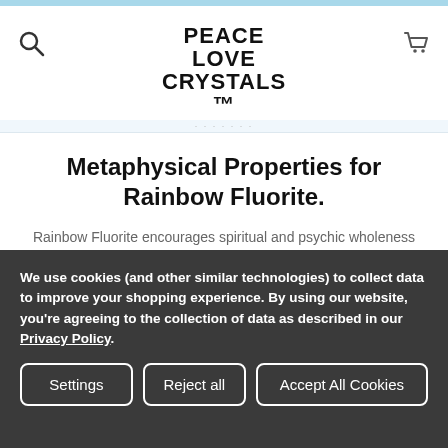PEACE LOVE CRYSTALS
Metaphysical Properties for Rainbow Fluorite.
Rainbow Fluorite encourages spiritual and psychic wholeness and development. It can also bring peace, truth and protection.
Rainbow Fluorite can be used for...
Mental enhancement and clarity - improved decision making - clearing of the energy field
We use cookies (and other similar technologies) to collect data to improve your shopping experience. By using our website, you're agreeing to the collection of data as described in our Privacy Policy.